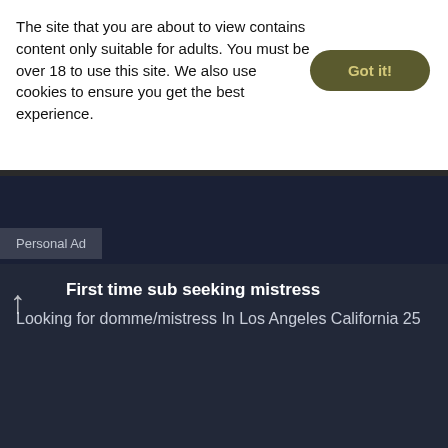The site that you are about to view contains content only suitable for adults. You must be over 18 to use this site. We also use cookies to ensure you get the best experience.
Got it!
Bankai5
sub male
Los Angeles, California, United States
Premium
Personal Ad
First time sub seeking mistress
Looking for domme/mistress In Los Angeles California 25